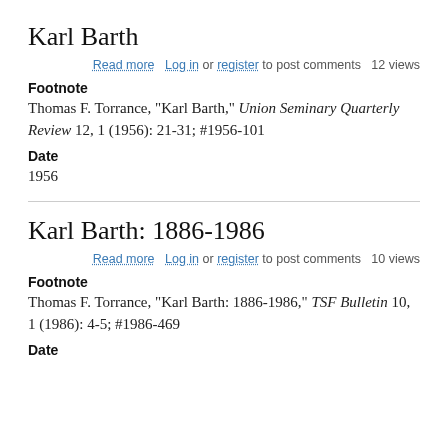Karl Barth
Read more   Log in or register to post comments   12 views
Footnote
Thomas F. Torrance, "Karl Barth," Union Seminary Quarterly Review 12, 1 (1956): 21-31; #1956-101
Date
1956
Karl Barth: 1886-1986
Read more   Log in or register to post comments   10 views
Footnote
Thomas F. Torrance, "Karl Barth: 1886-1986," TSF Bulletin 10, 1 (1986): 4-5; #1986-469
Date